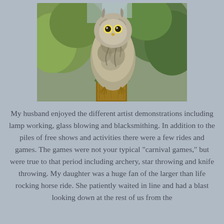[Figure (photo): A large owl (appears to be a stone or real owl) perched on a wooden post or stump, viewed from behind/side. Background shows green foliage and trees. The owl has mottled grey-brown feathers.]
My husband enjoyed the different artist demonstrations including lamp working, glass blowing and blacksmithing. In addition to the piles of free shows and activities there were a few rides and games. The games were not your typical "carnival games," but were true to that period including archery, star throwing and knife throwing. My daughter was a huge fan of the larger than life rocking horse ride. She patiently waited in line and had a blast looking down at the rest of us from the